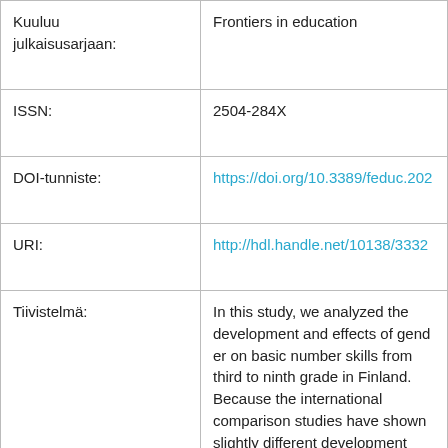| Field | Value |
| --- | --- |
| Kuuluu julkaisusarjaan: | Frontiers in education |
| ISSN: | 2504-284X |
| DOI-tunniste: | https://doi.org/10.3389/feduc.202... |
| URI: | http://hdl.handle.net/10138/3332... |
| Tiivistelmä: | In this study, we analyzed the development and effects of gender on basic number skills from third to ninth grade in Finland. Because the international comparison studies have shown slightly different development trends in mathematical attainment in different language groups in Finland, we added the language of education as a variable in our analysis. Participants were 4,025 students from third to... |